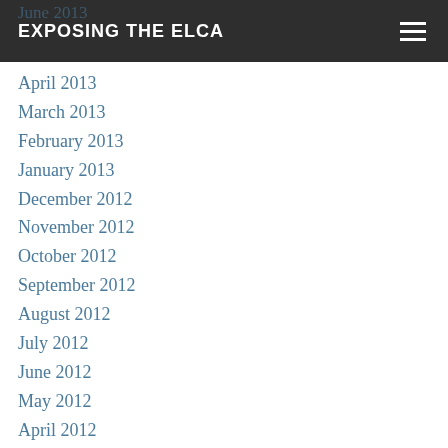EXPOSING THE ELCA
June 2013
April 2013
March 2013
February 2013
January 2013
December 2012
November 2012
October 2012
September 2012
August 2012
July 2012
June 2012
May 2012
April 2012
March 2012
February 2012
January 2012
December 2011